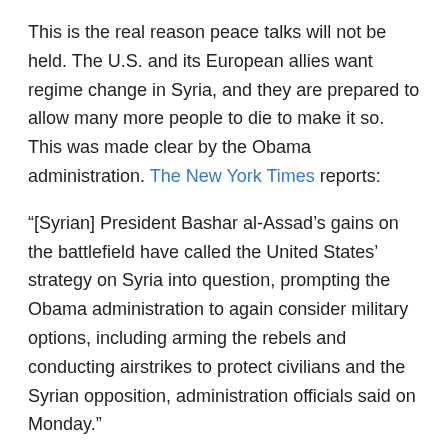This is the real reason peace talks will not be held. The U.S. and its European allies want regime change in Syria, and they are prepared to allow many more people to die to make it so. This was made clear by the Obama administration. The New York Times reports:
“[Syrian] President Bashar al-Assad’s gains on the battlefield have called the United States’ strategy on Syria into question, prompting the Obama administration to again consider military options, including arming the rebels and conducting airstrikes to protect civilians and the Syrian opposition, administration officials said on Monday.”
The above quote mentions “conducting airstrikes to protect civilians.” This is the infamous language of the UN resolution that allowed U.S.-NATO to intervene in Libya; but Obama immediately overstepped “protecting civilians”